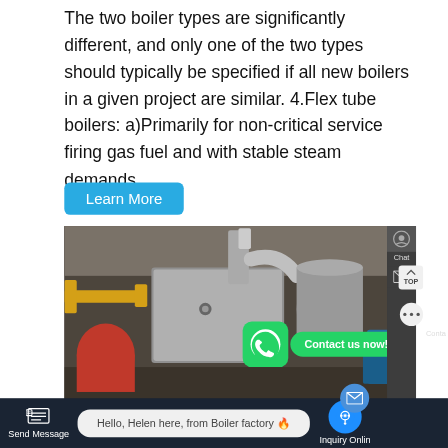The two boiler types are significantly different, and only one of the two types should typically be specified if all new boilers in a given project are similar. 4.Flex tube boilers: a)Primarily for non-critical service firing gas fuel and with stable steam demands.
Learn More
[Figure (photo): Industrial boiler room with large cylindrical boilers, yellow gas pipes, red pressure vessel, silver pipes, and blue tanks. WhatsApp contact overlay with green icon and 'Contact us now!' bubble.]
Send Message
Hello, Helen here, from Boiler factory 🔥
Inquiry Online